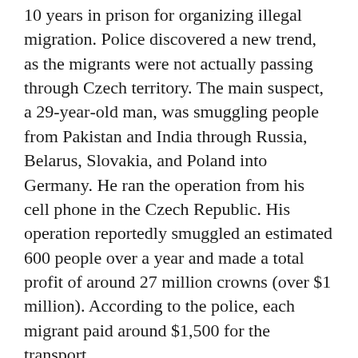10 years in prison for organizing illegal migration. Police discovered a new trend, as the migrants were not actually passing through Czech territory. The main suspect, a 29-year-old man, was smuggling people from Pakistan and India through Russia, Belarus, Slovakia, and Poland into Germany. He ran the operation from his cell phone in the Czech Republic. His operation reportedly smuggled an estimated 600 people over a year and made a total profit of around 27 million crowns (over $1 million). According to the police, each migrant paid around $1,500 for the transport.
LEGAL AMBIGUITY
In the Czech Republic, as in other postcommunist countries, human trafficking and smuggling are illegal according to paragraphs in the criminal code